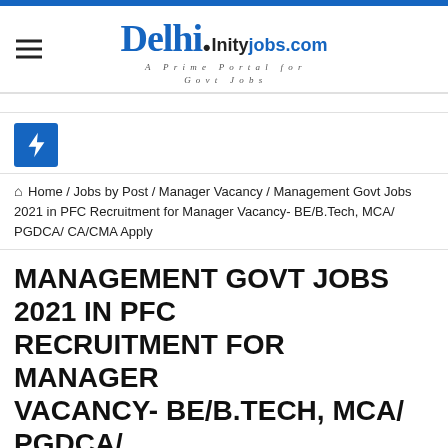Delhi.Inityjobs.com — A Prime Portal for Govt Jobs
[Figure (logo): Blue lightning bolt icon on blue square background]
Home / Jobs by Post / Manager Vacancy / Management Govt Jobs 2021 in PFC Recruitment for Manager Vacancy- BE/B.Tech, MCA/ PGDCA/ CA/CMA Apply
MANAGEMENT GOVT JOBS 2021 IN PFC RECRUITMENT FOR MANAGER VACANCY- BE/B.TECH, MCA/ PGDCA/ CA/CMA APPLY
delhiguy   April 10, 2021
Manager Vacancy, Apply Online Govt Vacancy, BE/B.Tech Jobs